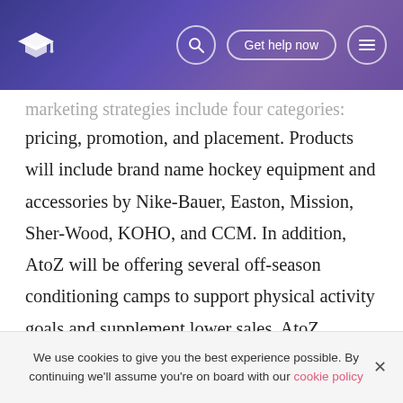Get help now
marketing strategies include four categories: product, pricing, promotion, and placement. Products will include brand name hockey equipment and accessories by Nike-Bauer, Easton, Mission, Sher-Wood, KOHO, and CCM. In addition, AtoZ will be offering several off-season conditioning camps to support physical activity goals and supplement lower sales. AtoZ anticipates pricing to be at least 10% higher than its largest competitor. This can be attributed to retaining an experienced staff, as well as a smaller scale.
Promotions will begin with a grand opening celebration
We use cookies to give you the best experience possible. By continuing we'll assume you're on board with our cookie policy